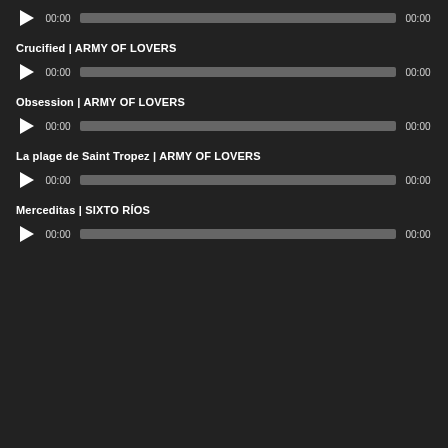[Figure (other): Audio player bar with play button, progress bar, and time 00:00 / 00:00]
Crucified | ARMY OF LOVERS
[Figure (other): Audio player bar with play button, progress bar, and time 00:00 / 00:00]
Obsession | ARMY OF LOVERS
[Figure (other): Audio player bar with play button, progress bar, and time 00:00 / 00:00]
La plage de Saint Tropez | ARMY OF LOVERS
[Figure (other): Audio player bar with play button, progress bar, and time 00:00 / 00:00]
Merceditas | SIXTO RÍOS
[Figure (other): Audio player bar with play button, progress bar, and time 00:00 / 00:00]